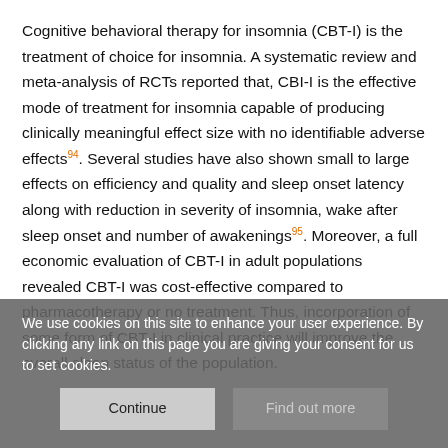Cognitive behavioral therapy for insomnia (CBT-I) is the treatment of choice for insomnia. A systematic review and meta-analysis of RCTs reported that, CBI-I is the effective mode of treatment for insomnia capable of producing clinically meaningful effect size with no identifiable adverse effects94. Several studies have also shown small to large effects on efficiency and quality and sleep onset latency along with reduction in severity of insomnia, wake after sleep onset and number of awakenings95. Moreover, a full economic evaluation of CBT-I in adult populations revealed CBT-I was cost-effective compared to pharmacotherapy or no treatment. Thus, incorporation of some form of CBT-I in clinical practice will improve the overall sleep status of the population.
We use cookies on this site to enhance your user experience. By clicking any link on this page you are giving your consent for us to set cookies.